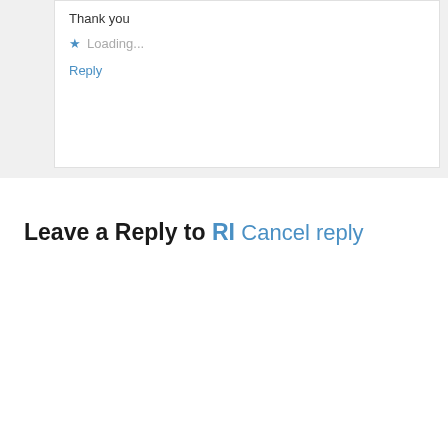Thank you
★ Loading...
Reply
Leave a Reply to RI Cancel reply